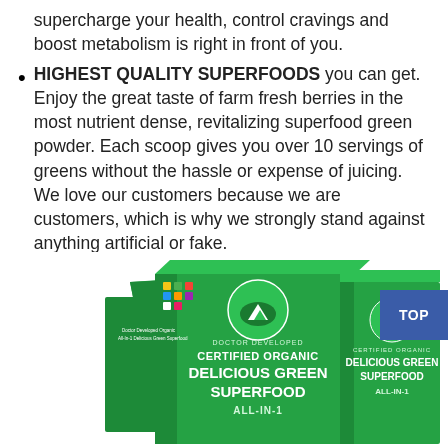supercharge your health, control cravings and boost metabolism is right in front of you.
HIGHEST QUALITY SUPERFOODS you can get. Enjoy the great taste of farm fresh berries in the most nutrient dense, revitalizing superfood green powder. Each scoop gives you over 10 servings of greens without the hassle or expense of juicing. We love our customers because we are customers, which is why we strongly stand against anything artificial or fake.
[Figure (photo): Two green boxes of Certified Organic Delicious Green Superfood All-In-1 product by Real Performance, labeled Doctor Developed, shown at an angle side by side.]